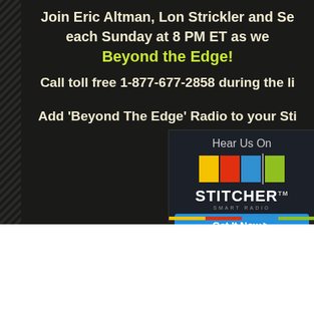Join Eric Altman, Lon Strickler and Se each Sunday at 8 PM ET as we Beyond the Edge! Call toll free 1-877-677-2858 during the li Add 'Beyond The Edge' Radio to your Sti
[Figure (logo): Stitcher Smart Radio advertisement box with colored bars (yellow, red, blue, green), Stitcher logo, 'Hear Us On' text, photobucket watermark, and 'Get It Now' blue button]